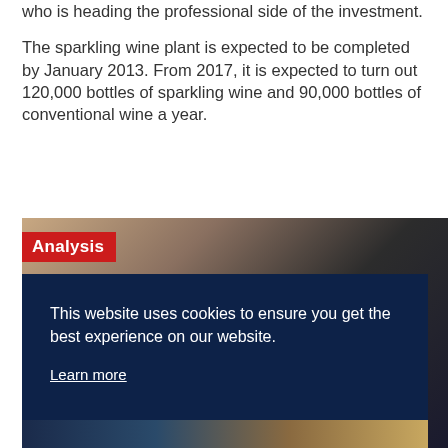who is heading the professional side of the investment.
The sparkling wine plant is expected to be completed by January 2013. From 2017, it is expected to turn out 120,000 bottles of sparkling wine and 90,000 bottles of conventional wine a year.
[Figure (photo): Photo of people in business attire with a cookie consent overlay. An 'Analysis' label in red appears in the top-left of the image. The dark navy cookie banner reads: 'This website uses cookies to ensure you get the best experience on our website. Learn more' with Decline and Allow cookies buttons.]